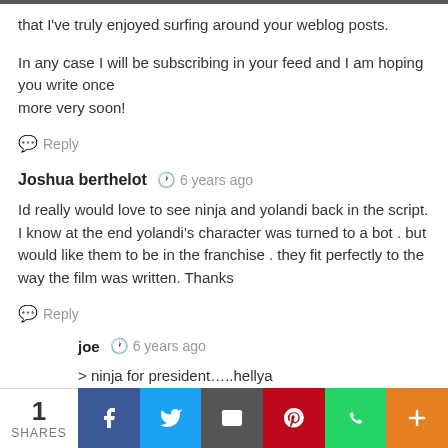that I've truly enjoyed surfing around your weblog posts.
In any case I will be subscribing in your feed and I am hoping you write once more very soon!
Reply
Joshua berthelot  6 years ago
Id really would love to see ninja and yolandi back in the script. I know at the end yolandi's character was turned to a bot . but would like them to be in the franchise . they fit perfectly to the way the film was written. Thanks
Reply
joe  6 years ago
> ninja for president…..hellya
1 SHARES | Facebook | Twitter | Email | Pinterest | WhatsApp | More